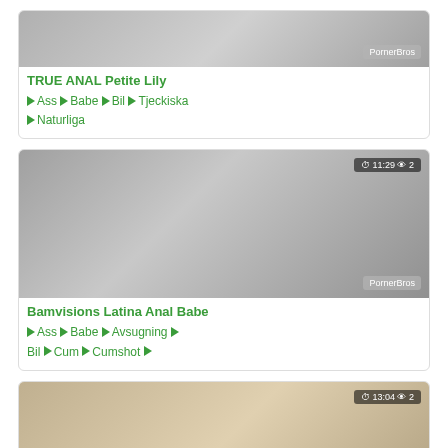[Figure (photo): Video thumbnail card 1: TRUE ANAL Petite Lily with watermark PornerBros]
TRUE ANAL Petite Lily
Ass  Babe  Bil  Tjeckiska  Naturliga
[Figure (photo): Video thumbnail card 2: Bamvisions Latina Anal Babe, duration 11:29, 2 views, watermark PornerBros]
Bamvisions Latina Anal Babe
Ass  Babe  Avsugning  Bil  Cum  Cumshot
[Figure (photo): Video thumbnail card 3: duration 13:04, 2 views]